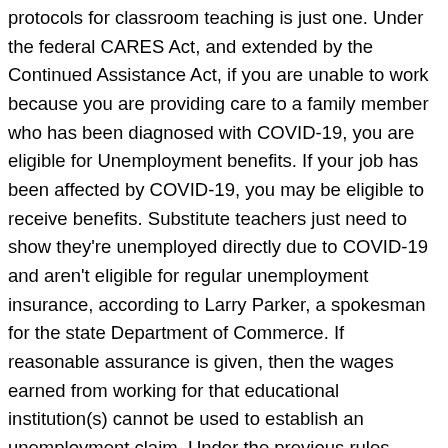protocols for classroom teaching is just one. Under the federal CARES Act, and extended by the Continued Assistance Act, if you are unable to work because you are providing care to a family member who has been diagnosed with COVID-19, you are eligible for Unemployment benefits. If your job has been affected by COVID-19, you may be eligible to receive benefits. Substitute teachers just need to show they're unemployed directly due to COVID-19 and aren't eligible for regular unemployment insurance, according to Larry Parker, a spokesman for the state Department of Commerce. If reasonable assurance is given, then the wages earned from working for that educational institution(s) cannot be used to establish an unemployment claim. Under the previous rules, unemployment was not available for people taking unpaid sick leave. Do substitute teachers qualify for unemployment? Man shot in the stomach near Visalia elementary school. Durham Public Schools has told substitute teachers who've asked about it that they may file for unemployment, according to Chip Sudderth, a district spokesman. According to her contract, she